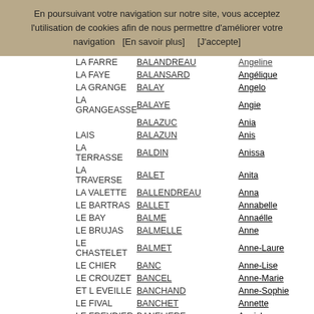En poursuivant votre navigation sur notre site, vous acceptez l'utilisation de cookies afin de nous permettre d'améliorer votre navigation   [En savoir plus]        [J'accepte]
| Lieu | Nom | Prénom |
| --- | --- | --- |
| LA FARRE | BALANDREAU | Angeline |
| LA FAYE | BALANSARD | Angélique |
| LA GRANGE | BALAY | Angelo |
| LA GRANGEASSE | BALAYE | Angie |
| LAIS | BALAZUC | Ania |
| LA TERRASSE | BALAZUN | Anis |
| LA TRAVERSE | BALDIN | Anissa |
| LA VALETTE | BALET | Anita |
| LE BARTRAS | BALLENDREAU | Anna |
| LE BAY | BALLET | Annabelle |
| LE BRUJAS | BALME | AnnaÃ«lle |
| LE CHASTELET | BALMELLE | Anne |
| LE CHIER | BALMET | Anne-Laure |
| LE CROUZET | BANC | Anne-Lise |
| ET L EVEILLE | BANCEL | Anne-Marie |
| LE FIVAL | BANCHAND | Anne-Sophie |
| LE FREYDIER | BANCHET | Annette |
| LE GRAND BOIS | BANELIERE | Annick |
| LE MAS | BAPTISTE | Annie |
|  | BARAL | Anny |
|  | BARALLON | Anouck |